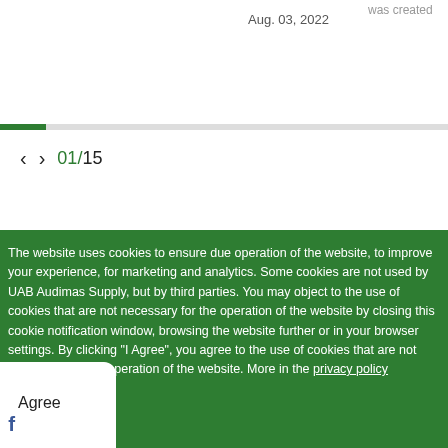was created
Aug. 03, 2022
01/15
The website uses cookies to ensure due operation of the website, to improve your experience, for marketing and analytics. Some cookies are not used by UAB Audimas Supply, but by third parties. You may object to the use of cookies that are not necessary for the operation of the website by closing this cookie notification window, browsing the website further or in your browser settings. By clicking "I Agree", you agree to the use of cookies that are not necessary for the operation of the website. More in the privacy policy
I Agree